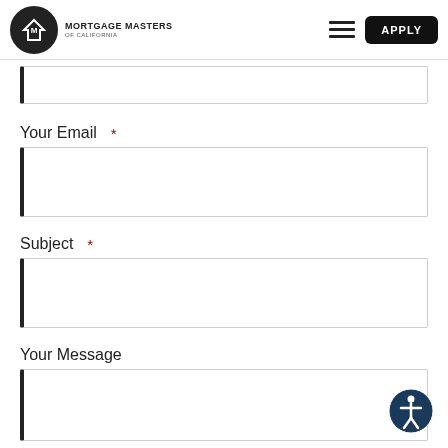Mortgage Masters of California — APPLY
Your Email *
Subject *
Your Message